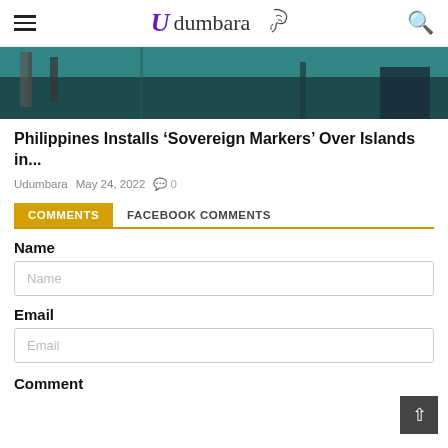Udumbara
[Figure (photo): Partial view of boats or fishing equipment on turquoise water, header image cropped at top]
Philippines Installs ‘Sovereign Markers’ Over Islands in...
Udumbara   May 24, 2022   💬 0
COMMENTS   FACEBOOK COMMENTS
Name
Name (placeholder)
Email
Email (placeholder)
Comment